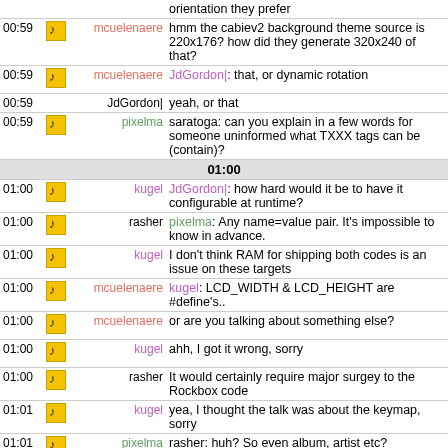| time | icon | nick | message |
| --- | --- | --- | --- |
|  |  |  | orientation they prefer |
| 00:59 | icon | mcuelenaere | hmm the cabiev2 background theme source is 220x176? how did they generate 320x240 of that? |
| 00:59 | icon | mcuelenaere | JdGordon|: that, or dynamic rotation |
| 00:59 |  | JdGordon| | yeah, or that |
| 00:59 | icon | pixelma | saratoga: can you explain in a few words for someone uninformed what TXXX tags can be (contain)? |
| 01:00 |  |  |  |
| 01:00 | icon | kugel | JdGordon|: how hard would it be to have it configurable at runtime? |
| 01:00 | icon | rasher | pixelma: Any name=value pair. It's impossible to know in advance. |
| 01:00 | icon | kugel | I don't think RAM for shipping both codes is an issue on these targets |
| 01:00 | icon | mcuelenaere | kugel: LCD_WIDTH & LCD_HEIGHT are #define's.. |
| 01:00 | icon | mcuelenaere | or are you talking about something else? |
| 01:00 | icon | kugel | ahh, I got it wrong, sorry |
| 01:00 | icon | rasher | It would certainly require major surgey to the Rockbox code |
| 01:01 | icon | kugel | yea, I thought the talk was about the keymap, sorry |
| 01:01 | icon | pixelma | rasher: huh? So even album, artist etc? |
| 01:01 | icon | kugel | s/keymap/input method/ |
| 01:01 |  | JdGordon| | touchscreens dont have keymaps so its easier... |
| 01:01 | icon | mcuelenaere | a rotationable input method? |
| 01:01 |  | JdGordon| | or wont once the ui is working properly |